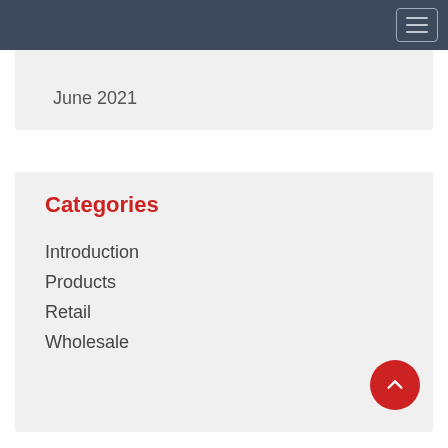June 2021
Categories
Introduction
Products
Retail
Wholesale